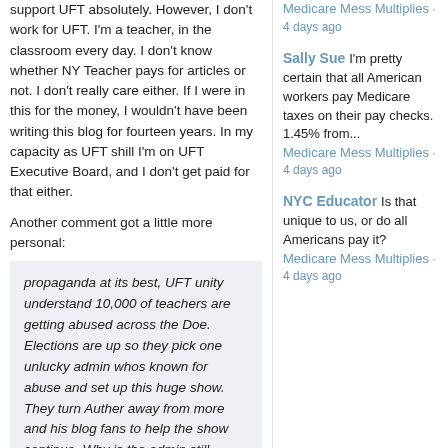support UFT absolutely. However, I don't work for UFT. I'm a teacher, in the classroom every day. I don't know whether NY Teacher pays for articles or not. I don't really care either. If I were in this for the money, I wouldn't have been writing this blog for fourteen years. In my capacity as UFT shill I'm on UFT Executive Board, and I don't get paid for that either.
Another comment got a little more personal:
propaganda at its best, UFT unity understand 10,000 of teachers are getting abused across the Doe. Elections are up so they pick one unlucky admin whos known for abuse and set up this huge show. They turn Auther away from more and his blog fans to help the show continue. Why is the admin still there???? The abuse is still going to continue across the for and Ben is still admin vote out unity
For the record, Unity didn't turn me away from MORE. MORE never supported our work, barely showed at our meetings, ejected all my friends, and labeled our victory a disaster
Medicare Mess Multiplies · 4 days ago
Sally Sue I'm pretty certain that all American workers pay Medicare taxes on their pay checks. 1.45% from...
Medicare Mess Multiplies · 4 days ago
NYC Educator Is that unique to us, or do all Americans pay it?
Medicare Mess Multiplies · 4 days ago